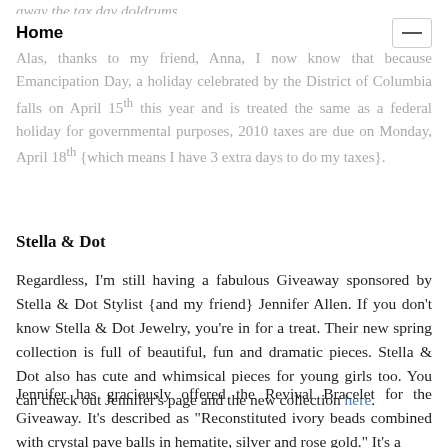Home
away the tax day doldrums.
Alas, thanks to my friend, Anna, I now know that because Emancipation Day, a holiday celebrated by the District of Columbia falls on April 15th this year and is treated the same as a federal holiday for governmental purposes, 2010 taxes are due on Monday, April 18th {which means I have 3 extra days to do my taxes}.
Stella & Dot
Regardless, I'm still having a fabulous Giveaway sponsored by Stella & Dot Stylist {and my friend} Jennifer Allen. If you don't know Stella & Dot Jewelry, you're in for a treat. Their new spring collection is full of beautiful, fun and dramatic pieces. Stella & Dot also has cute and whimsical pieces for young girls too. You can check out Jennifer's page and the new collection here.
Jennifer has graciously offered the Revival Bracelet for the Giveaway. It's described as "Reconstituted ivory beads combined with crystal pave balls in hematite, silver and rose gold." It's a